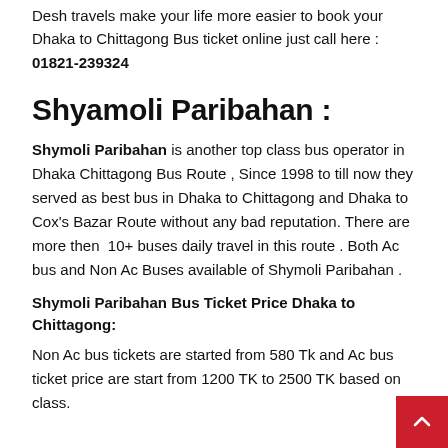Desh travels make your life more easier to book your Dhaka to Chittagong Bus ticket online just call here : 01821-239324
Shyamoli Paribahan :
Shymoli Paribahan is another top class bus operator in Dhaka Chittagong Bus Route , Since 1998 to till now they served as best bus in Dhaka to Chittagong and Dhaka to Cox's Bazar Route without any bad reputation. There are more then 10+ buses daily travel in this route . Both Ac bus and Non Ac Buses available of Shymoli Paribahan .
Shymoli Paribahan Bus Ticket Price Dhaka to Chittagong:
Non Ac bus tickets are started from 580 Tk and Ac bus ticket price are start from 1200 TK to 2500 TK based on class.